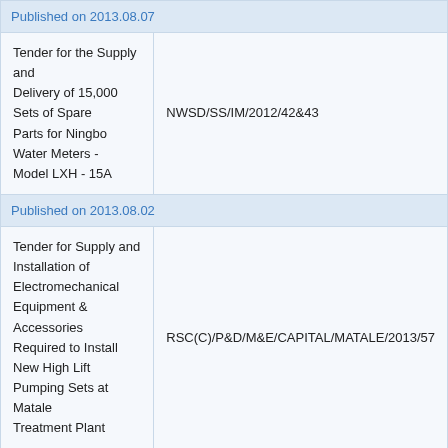| Published on 2013.08.07 |  |
| Tender for the Supply and Delivery of 15,000 Sets of Spare Parts for Ningbo Water Meters - Model LXH - 15A | NWSD/SS/IM/2012/42&43 |
| Published on 2013.08.02 |  |
| Tender for Supply and Installation of Electromechanical Equipment & Accessories Required to Install New High Lift Pumping Sets at Matale Treatment Plant | RSC(C)/P&D/M&E/CAPITAL/MATALE/2013/57 |
| Tender for Supply and Installation of Split Type Air Conditioning Units & Accessories for Planning & | P&D/M&E/AC/2013/01 |